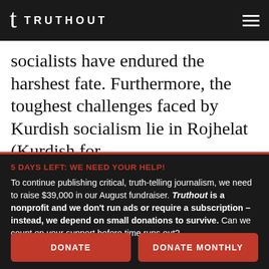TRUTHOUT
socialists have endured the harshest fate. Furthermore, the toughest challenges faced by Kurdish socialism lie in Rojhelat (Kurdish for
5 DAYS LEFT: WE NEED YOUR HELP! To continue publishing critical, truth-telling journalism, we need to raise $39,000 in our August fundraiser. Truthout is a nonprofit and we don't run ads or require a subscription – instead, we depend on small donations to survive. Can we count on your support before time runs out?
DONATE
DONATE MONTHLY